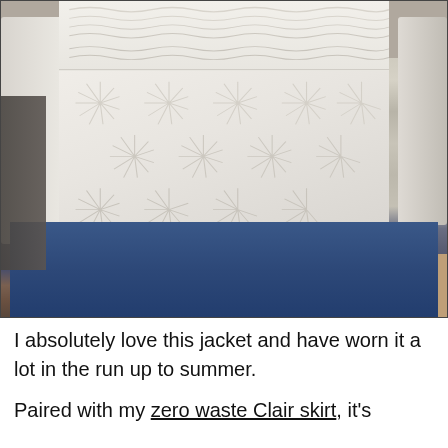[Figure (photo): A person wearing a white embroidered jacket or top with detailed white-on-white embroidery patterns (fan/sunburst motifs across the body, decorative band at the yoke), paired with a dark denim blue skirt. The photo is taken from mid-torso down, showing the back or front of the garment.]
I absolutely love this jacket and have worn it a lot in the run up to summer.

Paired with my zero waste Clair skirt, it's